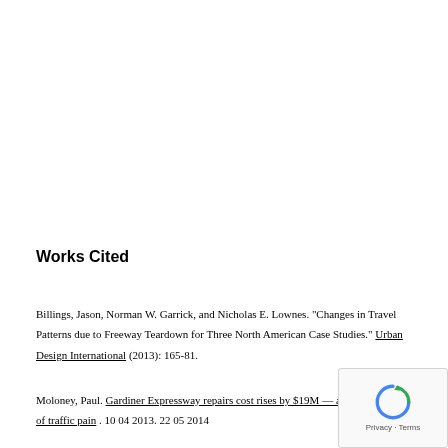Works Cited
Billings, Jason, Norman W. Garrick, and Nicholas E. Lownes. "Changes in Travel Patterns due to Freeway Teardown for Three North American Case Studies." Urban Design International (2013): 165-81.
Moloney, Paul. Gardiner Expressway repairs cost rises by $19M — and another year of traffic pain . 10 04 2013. 22 05 2014